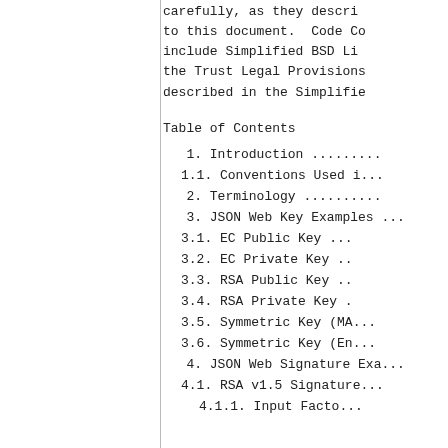carefully, as they descri...
to this document.  Code Co...
include Simplified BSD Li...
the Trust Legal Provisions...
described in the Simplifie...
Table of Contents
1. Introduction .........
1.1. Conventions Used i...
2. Terminology ..........
3. JSON Web Key Examples ...
3.1. EC Public Key ...
3.2. EC Private Key ..
3.3. RSA Public Key ..
3.4. RSA Private Key .
3.5. Symmetric Key (MA...
3.6. Symmetric Key (En...
4. JSON Web Signature Exa...
4.1. RSA v1.5 Signature...
4.1.1. Input Facto...